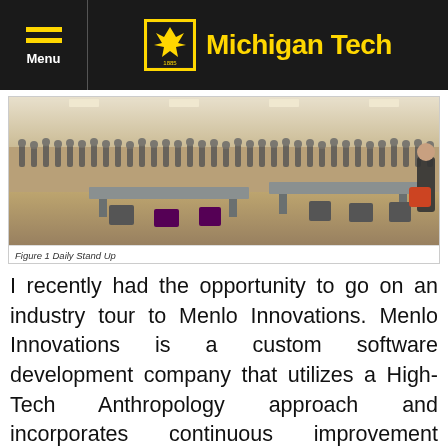Menu | Michigan Tech
[Figure (photo): Panoramic photo of a large room (Daily Stand Up) with many people standing around tables in what appears to be a meeting or event space]
Figure 1 Daily Stand Up
I recently had the opportunity to go on an industry tour to Menlo Innovations. Menlo Innovations is a custom software development company that utilizes a High-Tech Anthropology approach and incorporates continuous improvement principles in their day-to-day activities to develop and build new and innovative programs for their customers. Richard Sheridan, Menlo's founder and CEO, is the author of Joy Inc. (How We Built a Workplace People Love). Menlo